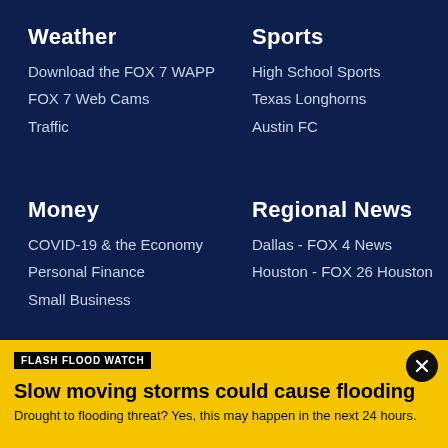Weather
Download the FOX 7 WAPP
FOX 7 Web Cams
Traffic
Sports
High School Sports
Texas Longhorns
Austin FC
Money
COVID-19 & the Economy
Personal Finance
Small Business
Regional News
Dallas - FOX 4 News
Houston - FOX 26 Houston
FLASH FLOOD WATCH
Slow moving storms could cause flooding
Drought to flooding threat? Yes, this may happen in the next 24 hours.